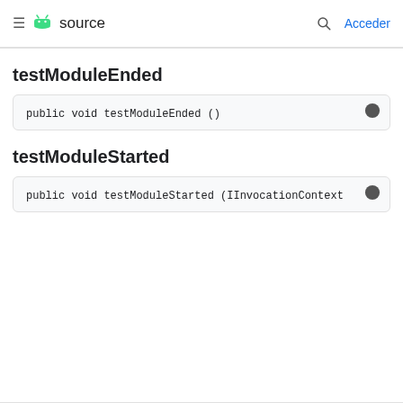≡ source  🔍 Acceder
testModuleEnded
public void testModuleEnded ()
testModuleStarted
public void testModuleStarted (IInvocationContext